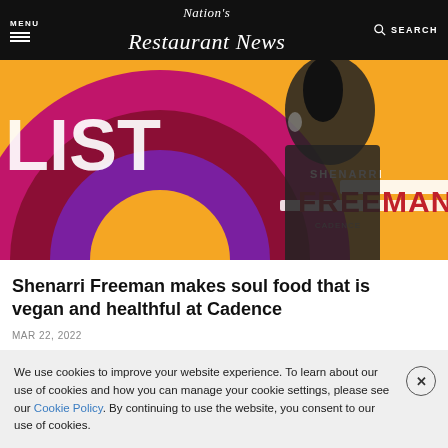MENU | Nation's Restaurant News | SEARCH
[Figure (photo): Magazine cover image featuring Shenarri Freeman with colorful circular background in purple, magenta, and orange. Text reads 'LIST', 'SHENARRI', 'FREEMAN', 'CADENCE'.]
Shenarri Freeman makes soul food that is vegan and healthful at Cadence
MAR 22, 2022
We use cookies to improve your website experience. To learn about our use of cookies and how you can manage your cookie settings, please see our Cookie Policy. By continuing to use the website, you consent to our use of cookies.